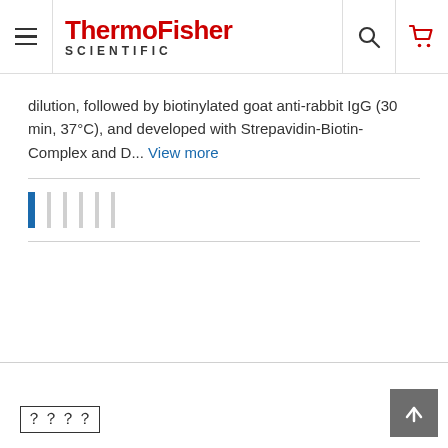ThermoFisher SCIENTIFIC
...dilution, followed by biotinylated goat anti-rabbit IgG (30 min, 37°C), and developed with Strepavidin-Biotin-Complex and D... View more
[Figure (other): Star/rating bar showing one tall blue bar followed by several shorter gray bars]
？？？？
[Figure (other): Back to top button with upward arrow]